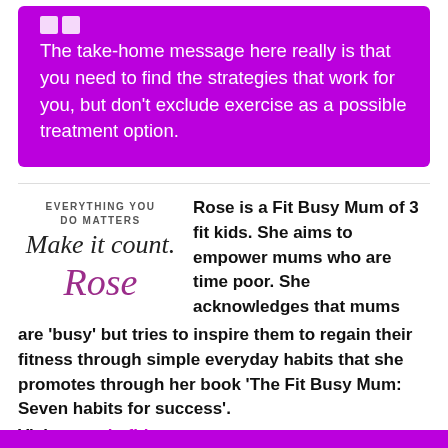The take-home message here really is that you need to find the strategies that work for you, but don't exclude exercise as a possible treatment option.
[Figure (logo): Fit Busy Mum logo with cursive text 'Make it count' and signature 'Rose', with tagline 'EVERYTHING YOU DO MATTERS']
Rose is a Fit Busy Mum of 3 fit kids. She aims to empower mums who are time poor. She acknowledges that mums are 'busy' but tries to inspire them to regain their fitness through simple everyday habits that she promotes through her book 'The Fit Busy Mum: Seven habits for success'. Visit www.thefitbusymum.com.au